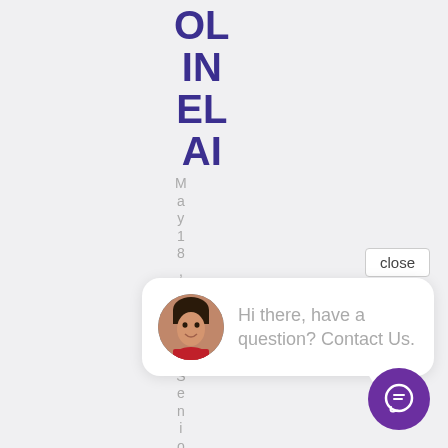OL IN EL AI
May 18, 2022 | Senior AI
close
[Figure (screenshot): Chat widget showing avatar of a woman with message: Hi there, have a question? Contact Us.]
[Figure (illustration): Purple circular chat icon button with speech bubble icon]